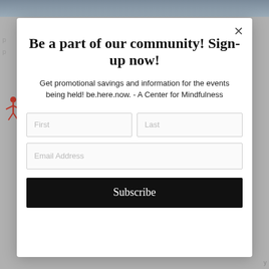[Figure (photo): Top background photo strip showing people, partially visible at top of page]
Be a part of our community! Sign-up now!
Get promotional savings and information for the events being held! be.here.now. - A Center for Mindfulness
First (input field placeholder)
Last (input field placeholder)
Email Address (input field placeholder)
Subscribe